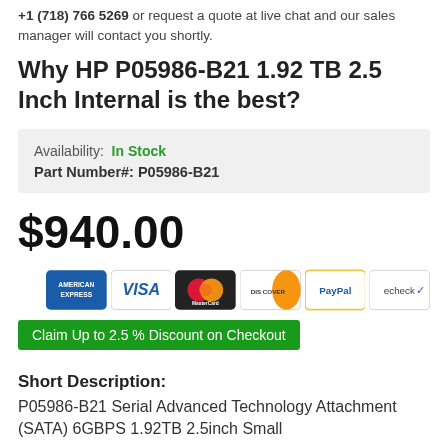+1 (718) 766 5269 or request a quote at live chat and our sales manager will contact you shortly.
Why HP P05986-B21 1.92 TB 2.5 Inch Internal is the best?
| Availability: | In Stock |
| Part Number#: | P05986-B21 |
$940.00
[Figure (other): Payment method icons: American Express, Visa, MasterCard, Discover, PayPal, echeck]
Claim Up to 2.5 % Discount on Checkout
Short Description:
P05986-B21 Serial Advanced Technology Attachment (SATA) 6GBPS 1.92TB 2.5inch Small